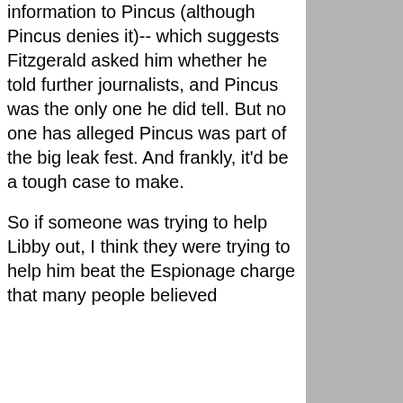information to Pincus (although Pincus denies it)-- which suggests Fitzgerald asked him whether he told further journalists, and Pincus was the only one he did tell. But no one has alleged Pincus was part of the big leak fest. And frankly, it'd be a tough case to make.
So if someone was trying to help Libby out, I think they were trying to help him beat the Espionage charge that many people believed he'd been...